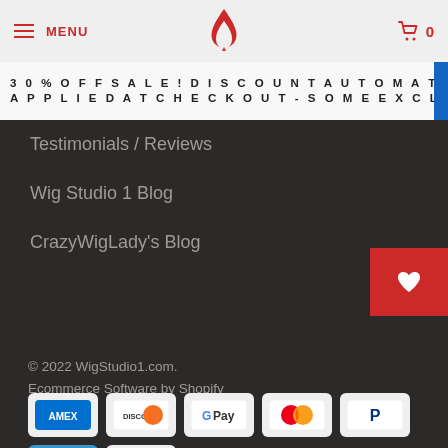MENU | [logo] | 0
30% OFF SALE! DISCOUNT AUTOMATICALLY APPLIED AT CHECKOUT - SOME EXCLUSIONS APPLY
Testimonials / Reviews
Wig Studio 1 Blog
CrazyWigLady's Blog
© 2022 WigStudio1.com. Ecommerce Software by Shopify
[Figure (infographic): Payment method icons: American Express, Discover, Google Pay, Mastercard, PayPal, Venmo, Visa]